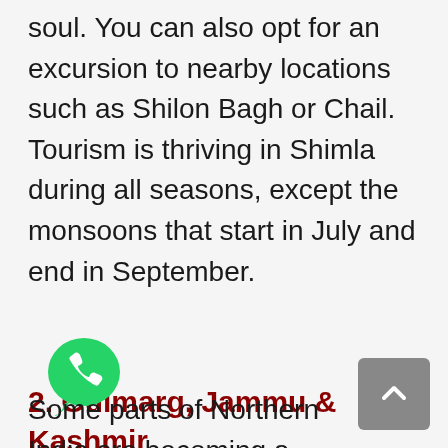soul. You can also opt for an excursion to nearby locations such as Shilon Bagh or Chail. Tourism is thriving in Shimla during all seasons, except the monsoons that start in July and end in September.
2. Gulmarg, Jammu & Kashmir
[Figure (logo): WhatsApp logo — green speech bubble with white phone handset icon]
Some parts of Northern India are becoming a snowy paradise as the